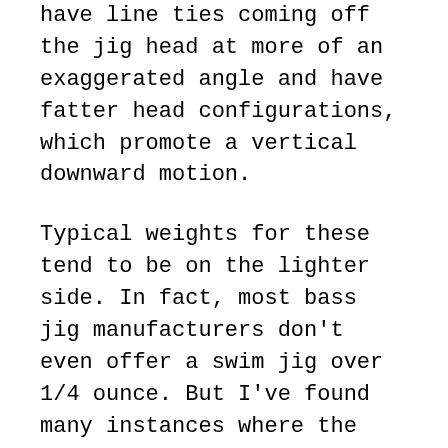have line ties coming off the jig head at more of an exaggerated angle and have fatter head configurations, which promote a vertical downward motion.
Typical weights for these tend to be on the lighter side. In fact, most bass jig manufacturers don't even offer a swim jig over 1/4 ounce. But I've found many instances where the heavier weights are definitely superior, so I encourage you to seek out manufacturers that offer these heavier versions. Wind, waves and current all beg for a 5/16- to 3/8-ounce version. Additionally, you can speed up or slow down the drop of these heavier jig weights by attaching different styles of grub trailers. For example, a fat, twin-tail grub body with paddle feet is sure to be far more buoyant and water resistant than a skinny, single